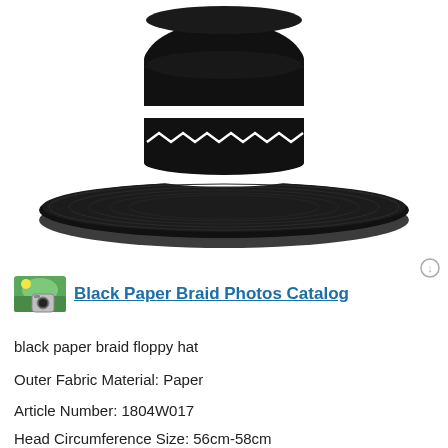[Figure (photo): Black paper braid floppy hat with wide brim, featuring white horizontal stripes and zigzag pattern on the crown band, photographed on white background]
Black Paper Braid Photos Catalog
black paper braid floppy hat
Outer Fabric Material: Paper
Article Number: 1804W017
Head Circumference Size: 56cm-58cm